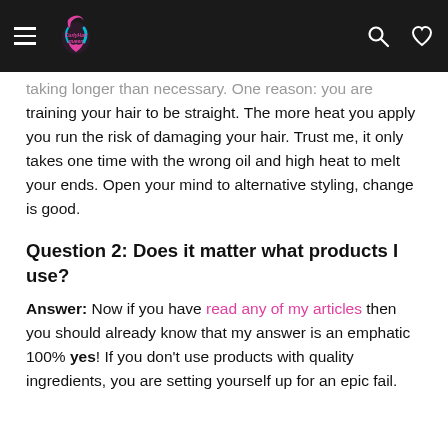CurlyHairQueen
taking longer than necessary. One reason: you are training your hair to be straight. The more heat you apply you run the risk of damaging your hair. Trust me, it only takes one time with the wrong oil and high heat to melt your ends. Open your mind to alternative styling, change is good.
Question 2: Does it matter what products I use?
Answer: Now if you have read any of my articles then you should already know that my answer is an emphatic 100% yes! If you don't use products with quality ingredients, you are setting yourself up for an epic fail.